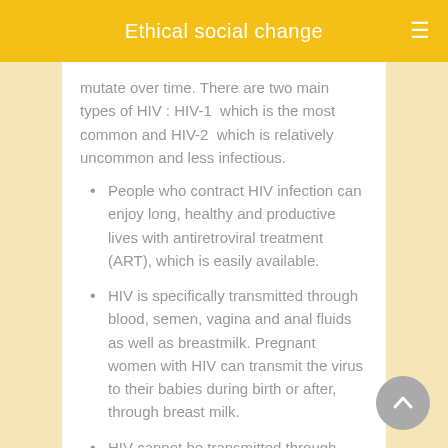Ethical social change
mutate over time. There are two main types of HIV : HIV-1  which is the most common and HIV-2  which is relatively uncommon and less infectious.
People who contract HIV infection can enjoy long, healthy and productive lives with antiretroviral treatment (ART), which is easily available.
HIV is specifically transmitted through blood, semen, vagina and anal fluids as well as breastmilk. Pregnant women with HIV can transmit the virus to their babies during birth or after, through breast milk.
HIV cannot be transmitted through touch, hugs, shaking hands, contact with saliva, tears, urine or feces of a positive person and cannot survive in air.